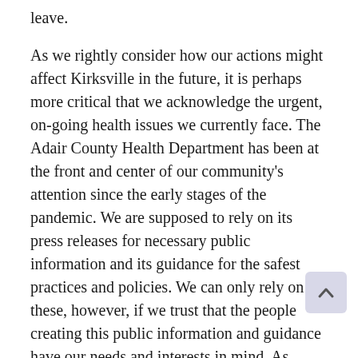leave.
As we rightly consider how our actions might affect Kirksville in the future, it is perhaps more critical that we acknowledge the urgent, on-going health issues we currently face. The Adair County Health Department has been at the front and center of our community's attention since the early stages of the pandemic. We are supposed to rely on its press releases for necessary public information and its guidance for the safest practices and policies. We can only rely on these, however, if we trust that the people creating this public information and guidance have our needs and interests in mind. As written on the front page of The Index recently, Jim LeBaron, Adair County Health Department's administrator, said this might be the most important Health Department election in its history.
University President Sue Thomas also announced